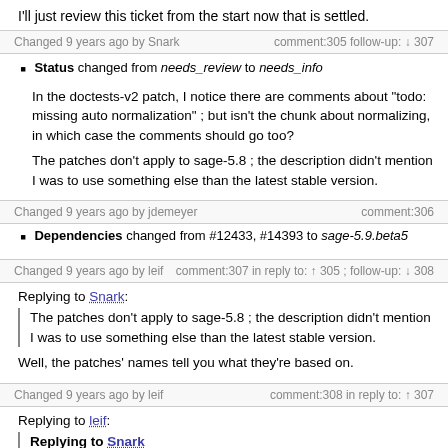I'll just review this ticket from the start now that is settled.
Changed 9 years ago by Snark   comment:305 follow-up: ↓ 307
Status changed from needs_review to needs_info
In the doctests-v2 patch, I notice there are comments about "todo: missing auto normalization" ; but isn't the chunk about normalizing, in which case the comments should go too?
The patches don't apply to sage-5.8 ; the description didn't mention I was to use something else than the latest stable version.
Changed 9 years ago by jdemeyer   comment:306
Dependencies changed from #12433, #14393 to sage-5.9.beta5
Changed 9 years ago by leif   comment:307 in reply to: ↑ 305 ; follow-up: ↓ 308
Replying to Snark:
The patches don't apply to sage-5.8 ; the description didn't mention I was to use something else than the latest stable version.
Well, the patches' names tell you what they're based on.
Changed 9 years ago by leif   comment:308 in reply to: ↑ 307
Replying to leif: